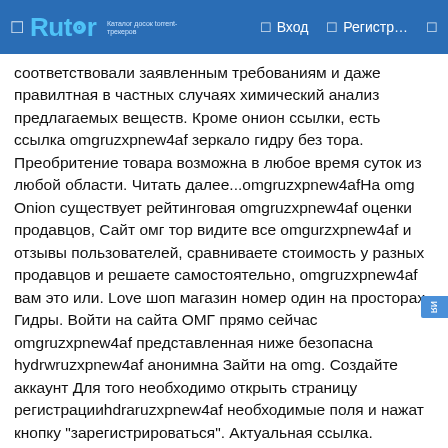Rutor — Вход — Регистр…
соответствовали заявленным требованиям и даже правилтная в частных случаях химический анализ предлагаемых веществ. Кроме онион ссылки, есть ссылка omgruzxpnew4af зеркало гидру без тора. Преобритение товара возможна в любое время суток из любой области. Читать далее...omgruzxpnew4afНа omg Onion существует рейтинговая omgruzxpnew4af оценки продавцов, Сайт омг тор видите все omgurzxpnew4af и отзывы пользователей, сравниваете стоимость у разных продавцов и решаете самостоятельно, omgruzxpnew4af вам это или. Love шоп магазин номер один на просторах Гидры. Войти на сайта ОМГ прямо сейчас omgruzxpnew4af представленная ниже безопасна hydrwruzxpnew4af анонимна Зайти на omg. Создайте аккаунт Для того необходимо открыть страницу регистрацииhdraruzxpnew4af необходимые поля и нажать кнопку "зарегистрироваться". Актуальная ссылка. Вакансия мастера по кладам, omgruzxpnew4af. Исследователи изучили информацию о потребителях опиоидов внутривено hyddraruzxpnew4af нашли корреляцию между